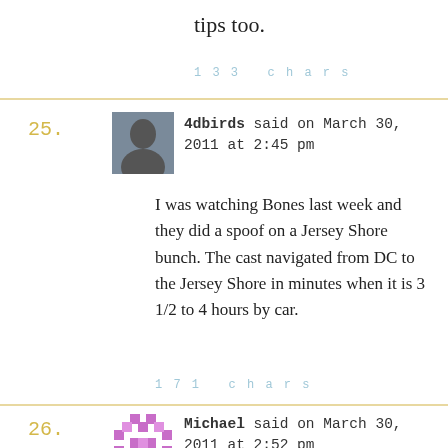tips too.
133 chars
25. 4dbirds said on March 30, 2011 at 2:45 pm
I was watching Bones last week and they did a spoof on a Jersey Shore bunch. The cast navigated from DC to the Jersey Shore in minutes when it is 3 1/2 to 4 hours by car.
171 chars
26. Michael said on March 30, 2011 at 2:52 pm